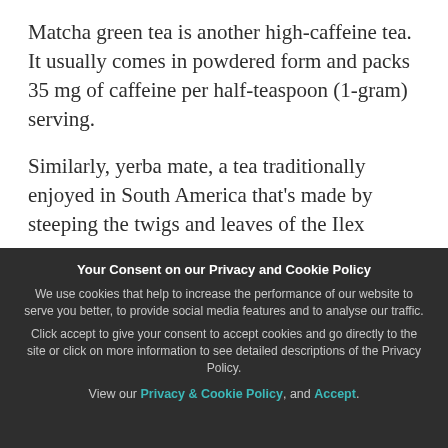Matcha green tea is another high-caffeine tea. It usually comes in powdered form and packs 35 mg of caffeine per half-teaspoon (1-gram) serving.
Similarly, yerba mate, a tea traditionally enjoyed in South America that's made by steeping the twigs and leaves of the Ilex...
Your Consent on our Privacy and Cookie Policy
We use cookies that help to increase the performance of our website to serve you better, to provide social media features and to analyse our traffic.
Click accept to give your consent to accept cookies and go directly to the site or click on more information to see detailed descriptions of the Privacy Policy.
View our Privacy & Cookie Policy, and Accept.